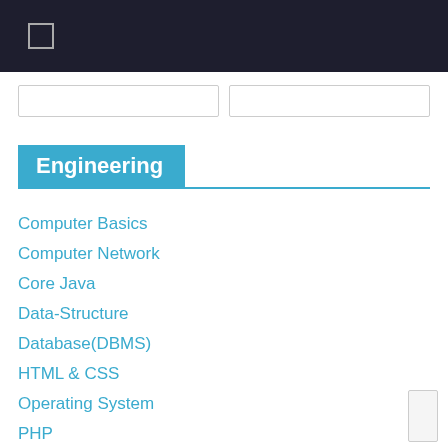Engineering
Computer Basics
Computer Network
Core Java
Data-Structure
Database(DBMS)
HTML & CSS
Operating System
PHP
Software Testing